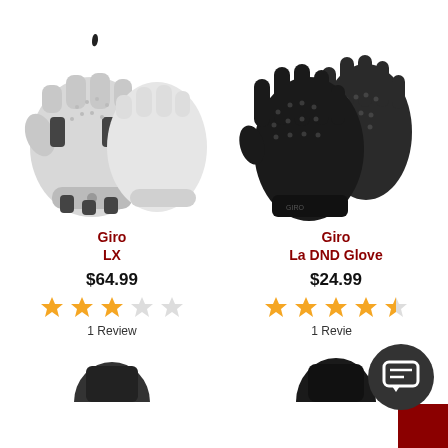[Figure (photo): Giro LX cycling gloves in white/gray, fingerless, shown as a pair]
Giro
LX
$64.99
[Figure (other): 3 out of 5 stars rating (orange stars)]
1 Review
[Figure (photo): Giro La DND Glove in black, full-finger, shown as a pair]
Giro
La DND Glove
$24.99
[Figure (other): 4.5 out of 5 stars rating (orange stars)]
1 Review